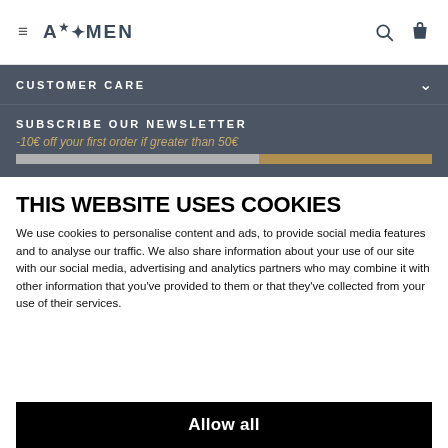≡  A★MEN  🔍  🛍
CUSTOMER CARE
SUBSCRIBE OUR NEWSLETTER
-10€ off your first order if greater than 50€
THIS WEBSITE USES COOKIES
We use cookies to personalise content and ads, to provide social media features and to analyse our traffic. We also share information about your use of our site with our social media, advertising and analytics partners who may combine it with other information that you've provided to them or that they've collected from your use of their services.
Allow all